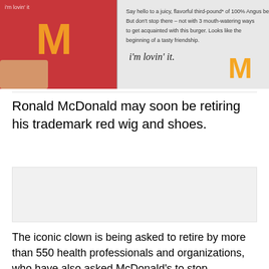[Figure (photo): McDonald's advertisement showing a bag with golden arches, text reading 'Say hello to a juicy, flavorful third-pound of 100% Angus beef. But don't stop there – not with 3 mouth-watering ways to get acquainted with this burger. Looks like the beginning of a tasty friendship.' with 'i'm lovin' it' signature and McDonald's logo]
Ronald McDonald may soon be retiring his trademark red wig and shoes.
[Figure (other): Advertisement placeholder box (gray background)]
The iconic clown is being asked to retire by more than 550 health professionals and organizations, who have also asked McDonald's to stop marketing junk food to children, according to the Wall Street Journal, in a continued push to market more health-conscious food to kids. The organizations published a letter Wednesday in the form of a full-page advertisement in daily newspapers across the